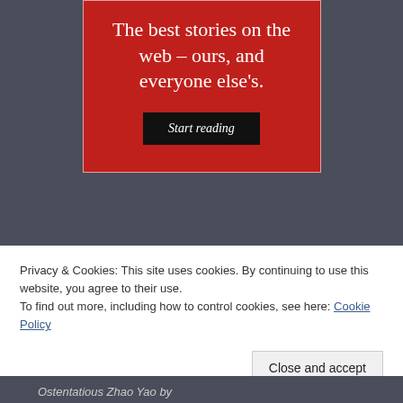[Figure (screenshot): Red advertisement banner with white text reading 'The best stories on the web – ours, and everyone else's.' and a black 'Start reading' button]
REPORT THIS AD
Loading…
Privacy & Cookies: This site uses cookies. By continuing to use this website, you agree to their use.
To find out more, including how to control cookies, see here: Cookie Policy
Close and accept
Ostentatious Zhao Yao by